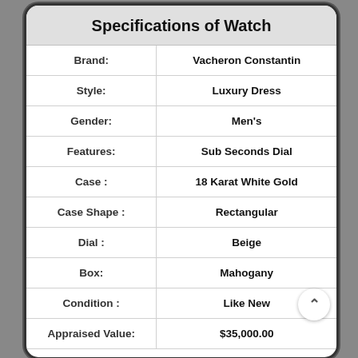Specifications of Watch
| Field | Value |
| --- | --- |
| Brand: | Vacheron Constantin |
| Style: | Luxury Dress |
| Gender: | Men's |
| Features: | Sub Seconds Dial |
| Case : | 18 Karat White Gold |
| Case Shape : | Rectangular |
| Dial : | Beige |
| Box: | Mahogany |
| Condition : | Like New |
| Appraised Value: | $35,000.00 |